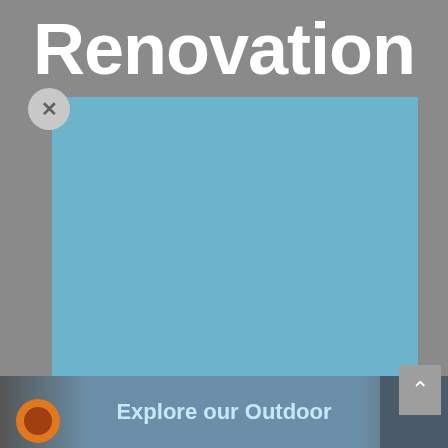Renovation
[Figure (screenshot): A UI screenshot showing a modal overlay with a close button (×), a large blue-teal rectangle placeholder image area, a lighter blue overlay at the bottom, a scroll-up arrow button on the right, and a bottom banner reading 'Explore our Outdoor' with an orange circle avatar icon on the left.]